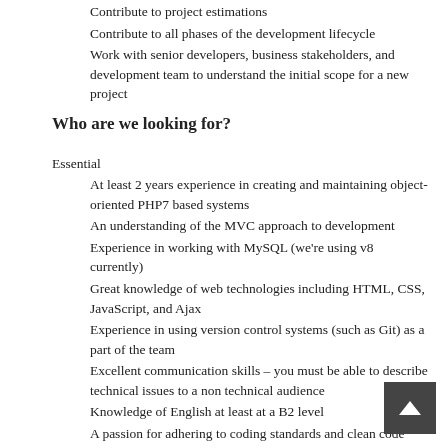Contribute to project estimations
Contribute to all phases of the development lifecycle
Work with senior developers, business stakeholders, and development team to understand the initial scope for a new project
Who are we looking for?
Essential
At least 2 years experience in creating and maintaining object-oriented PHP7 based systems
An understanding of the MVC approach to development
Experience in working with MySQL (we're using v8 currently)
Great knowledge of web technologies including HTML, CSS, JavaScript, and Ajax
Experience in using version control systems (such as Git) as a part of the team
Excellent communication skills – you must be able to describe technical issues to a non technical audience
Knowledge of English at least at a B2 level
A passion for adhering to coding standards and clean code